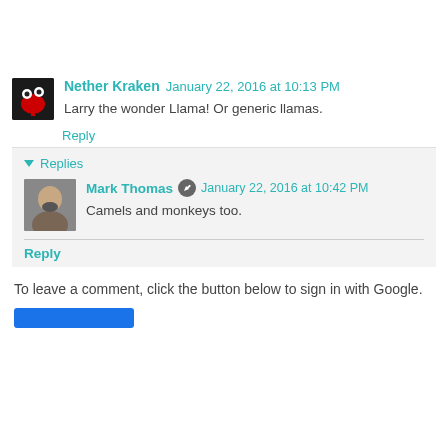Nether Kraken  January 22, 2016 at 10:13 PM
Larry the wonder Llama! Or generic llamas.
Reply
Replies
Mark Thomas  January 22, 2016 at 10:42 PM
Camels and monkeys too.
Reply
To leave a comment, click the button below to sign in with Google.